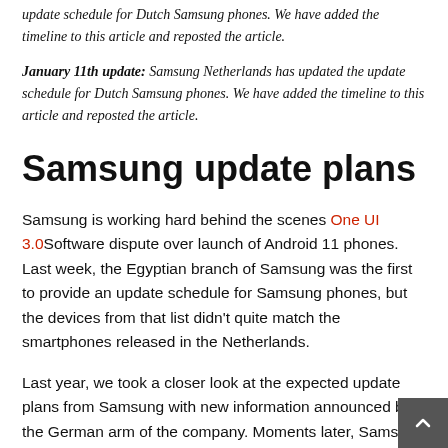update schedule for Dutch Samsung phones. We have added the timeline to this article and reposted the article.
January 11th update: Samsung Netherlands has updated the update schedule for Dutch Samsung phones. We have added the timeline to this article and reposted the article.
Samsung update plans
Samsung is working hard behind the scenes One UI 3.0Software dispute over launch of Android 11 phones. Last week, the Egyptian branch of Samsung was the first to provide an update schedule for Samsung phones, but the devices from that list didn't quite match the smartphones released in the Netherlands.
Last year, we took a closer look at the expected update plans from Samsung with new information announced by the German arm of the company. Moments later, Samsung